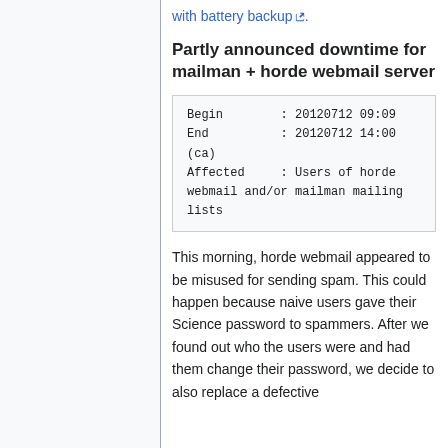with battery backup ↗.
Partly announced downtime for mailman + horde webmail server
Begin : 20120712 09:09
End : 20120712 14:00 (ca)
Affected : Users of horde webmail and/or mailman mailing lists
This morning, horde webmail appeared to be misused for sending spam. This could happen because naive users gave their Science password to spammers. After we found out who the users were and had them change their password, we decide to also replace a defective